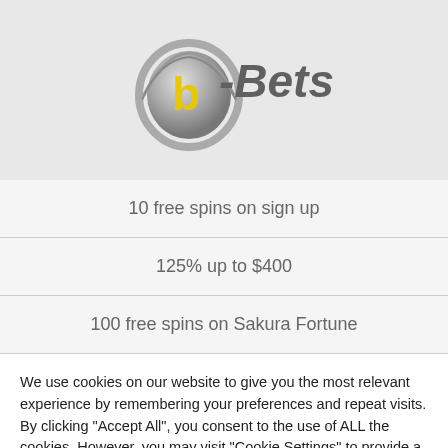[Figure (logo): b-Bets logo with spinning coin graphic and italic text 'b-Bets' in grey]
| 10 free spins on sign up |
| 125% up to $400 |
| 100 free spins on Sakura Fortune |
We use cookies on our website to give you the most relevant experience by remembering your preferences and repeat visits. By clicking "Accept All", you consent to the use of ALL the cookies. However, you may visit "Cookie Settings" to provide a controlled consent.
Cookie Settings | Accept All